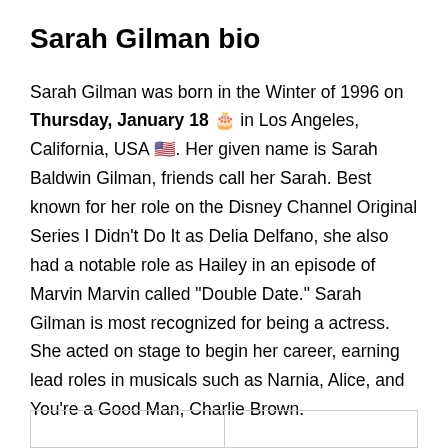Sarah Gilman bio
Sarah Gilman was born in the Winter of 1996 on Thursday, January 18 🎂 in Los Angeles, California, USA 🇺🇸. Her given name is Sarah Baldwin Gilman, friends call her Sarah. Best known for her role on the Disney Channel Original Series I Didn't Do It as Delia Delfano, she also had a notable role as Hailey in an episode of Marvin Marvin called “Double Date.” Sarah Gilman is most recognized for being a actress. She acted on stage to begin her career, earning lead roles in musicals such as Narnia, Alice, and You’re a Good Man, Charlie Brown.
Here are more interesting facts about Sarah.
|  |  |